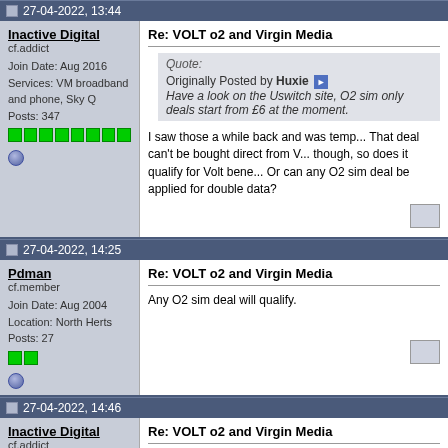27-04-2022, 13:44
Inactive Digital
cf.addict
Join Date: Aug 2016
Services: VM broadband and phone, Sky Q
Posts: 347
Re: VOLT o2 and Virgin Media
Quote:
Originally Posted by Huxie
Have a look on the Uswitch site, O2 sim only deals start from £6 at the moment.
I saw those a while back and was temp... That deal can't be bought direct from V... though, so does it qualify for Volt bene... Or can any O2 sim deal be applied for double data?
27-04-2022, 14:25
Pdman
cf.member
Join Date: Aug 2004
Location: North Herts
Posts: 27
Re: VOLT o2 and Virgin Media
Any O2 sim deal will qualify.
27-04-2022, 14:46
Inactive Digital
cf.addict
Re: VOLT o2 and Virgin Media